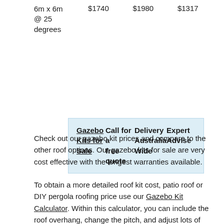| 6m x 6m
@ 25
degrees | $1740 | $1980 | $1317 |
| Gazebo Kits for Sale | Call for a free quote | Delivery Australia Wide | Expert Advise |
| --- | --- | --- | --- |
Check out our gazebo kit prices and compare to the other roof options. Our gazebo kits for sale are very cost effective with the longest warranties available.
To obtain a more detailed roof kit cost, patio roof or DIY pergola roofing price use our Gazebo Kit Calculator. Within this calculator, you can include the roof overhang, change the pitch, and adjust lots of other options for detailed pricing.